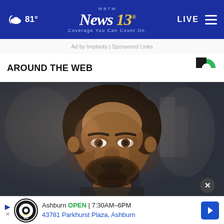☁ 81° | WBTW News 13 Coverage You Can Count On. | LIVE
Ad by Implants | Sponsored Links
AROUND THE WEB
[Figure (photo): Close-up photo of a dark-haired man with beard looking serious against a blurred background]
Ashburn OPEN 7:30AM–6PM 43781 Parkhurst Plaza, Ashburn